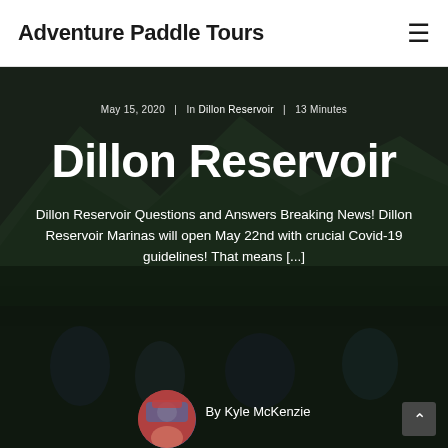Adventure Paddle Tours
May 15, 2020  |  In Dillon Reservoir  |  13 Minutes
Dillon Reservoir
Dillon Reservoir Questions and Answers Breaking News! Dillon Reservoir Marinas will open May 22nd with crucial Covid-19 guidelines! That means [...]
By Kyle McKenzie
[Figure (photo): Background photo of people paddling/kayaking on a reservoir with mountains and trees in the background, dark overlay applied]